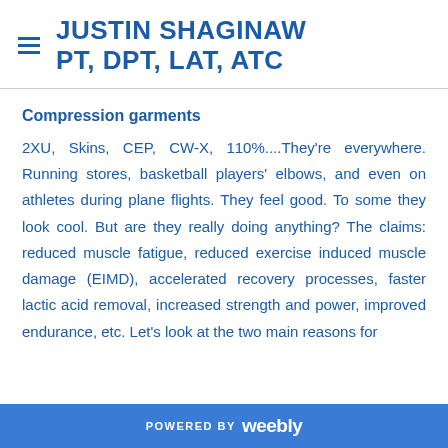JUSTIN SHAGINAW PT, DPT, LAT, ATC
Compression garments
2XU, Skins, CEP, CW-X, 110%....They're everywhere. Running stores, basketball players' elbows, and even on athletes during plane flights. They feel good. To some they look cool. But are they really doing anything? The claims: reduced muscle fatigue, reduced exercise induced muscle damage (EIMD), accelerated recovery processes, faster lactic acid removal, increased strength and power, improved endurance, etc. Let's look at the two main reasons for
POWERED BY weebly